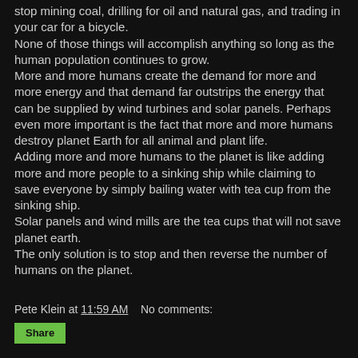stop mining coal, drilling for oil and natural gas, and trading in your car for a bicycle.
None of those things will accomplish anything so long as the human population continues to grow.
More and more humans create the demand for more and more energy and that demand far outstrips the energy that can be supplied by wind turbines and solar panels. Perhaps even more important is the fact that more and more humans destroy planet Earth for all animal and plant life.
Adding more and more humans to the planet is like adding more and more people to a sinking ship while claiming to save everyone by simply bailing water with tea cup from the sinking ship.
Solar panels and wind mills are the tea cups that will not save planet earth.
The only solution is to stop and then reverse the number of humans on the planet.
Pete Klein at 11:59 AM    No comments: